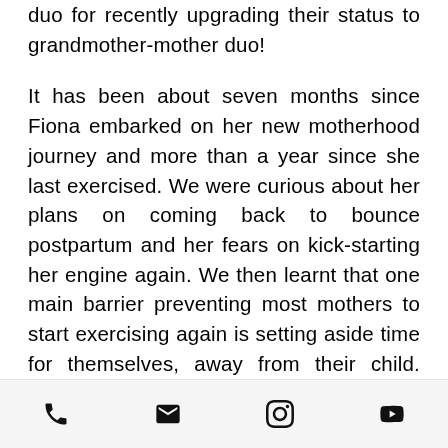duo for recently upgrading their status to grandmother-mother duo!
It has been about seven months since Fiona embarked on her new motherhood journey and more than a year since she last exercised. We were curious about her plans on coming back to bounce postpartum and her fears on kick-starting her engine again. We then learnt that one main barrier preventing most mothers to start exercising again is setting aside time for themselves, away from their child. Despite these concerns, Fiona raised one significant point about rebounding
phone | email | instagram | youtube